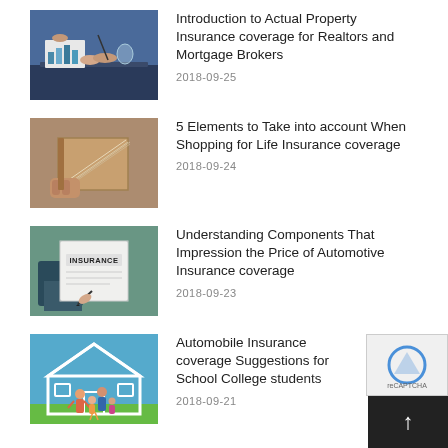[Figure (photo): Business meeting scene with hands over charts and documents on a desk]
Introduction to Actual Property Insurance coverage for Realtors and Mortgage Brokers
2018-09-25
[Figure (photo): Person holding an open book or document]
5 Elements to Take into account When Shopping for Life Insurance coverage
2018-09-24
[Figure (photo): Hands holding an insurance document with the word INSURANCE printed on it]
Understanding Components That Impression the Price of Automotive Insurance coverage
2018-09-23
[Figure (photo): Family with children standing in front of a house outline on a blue sky background]
Automobile Insurance coverage Suggestions for School College students
2018-09-21